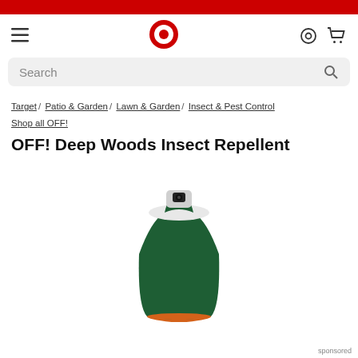Target navigation bar with hamburger menu, Target logo, location and cart icons, and search bar
Target / Patio & Garden / Lawn & Garden / Insect & Pest Control
Shop all OFF!
OFF! Deep Woods Insect Repellent
[Figure (photo): Top-down view of a dark green aerosol spray can (OFF! Deep Woods Insect Repellent) with an orange bottom rim and a black spray nozzle on top]
sponsored